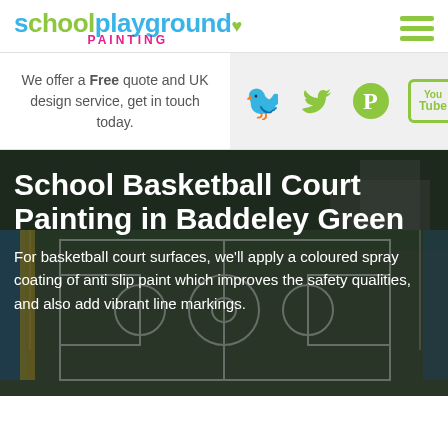[Figure (logo): School Playground Painting logo with blue 'school', green 'playground', pink 'PAINTING' text and pin/heart icons]
We offer a Free quote and UK design service, get in touch today.
[Figure (infographic): Social media icons: Twitter bird, Pinterest P, YouTube box, Tumblr t — all in olive/lime green on grey background]
[Figure (photo): Aerial/perspective photo of a school basketball court with dark tarmac surface and white line markings, surrounded by fencing]
School Basketball Court Painting in Baddeley Green
For basketball court surfaces, we'll apply a coloured spray coating of anti slip paint which improves the safety qualities, and also add vibrant line markings.